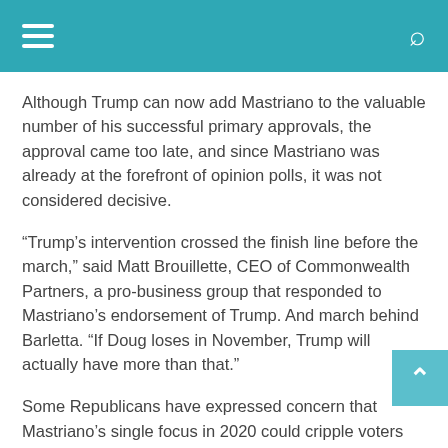[Navigation bar with hamburger menu and search icon]
Although Trump can now add Mastriano to the valuable number of his successful primary approvals, the approval came too late, and since Mastriano was already at the forefront of opinion polls, it was not considered decisive.
“Trump’s intervention crossed the finish line before the march,” said Matt Brouillette, CEO of Commonwealth Partners, a pro-business group that responded to Mastriano’s endorsement of Trump. And march behind Barletta. “If Doug loses in November, Trump will actually have more than that.”
Some Republicans have expressed concern that Mastriano’s single focus in 2020 could cripple voters who believe Biden’s victory system or is more interested in looking to the future.
David Urban, a longtime Trump adviser, said it would be difficult to win a general election in Pennsylvania. Urban said Mastriano should be elected in a race report that